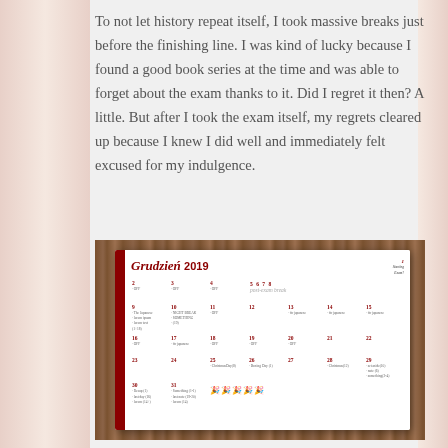To not let history repeat itself, I took massive breaks just before the finishing line. I was kind of lucky because I found a good book series at the time and was able to forget about the exam thanks to it. Did I regret it then? A little. But after I took the exam itself, my regrets cleared up because I knew I did well and immediately felt excused for my indulgence.
[Figure (photo): A photo of an open bullet journal/planner showing a December 2019 monthly calendar page with handwritten entries in red and black ink. The journal is placed on a wooden surface. The calendar shows dates 1-31 with various notes including 'post-exam break' and entries like 'OFF'. The journal has a red spine and the title 'Grudzień 2019' written in decorative red script.]